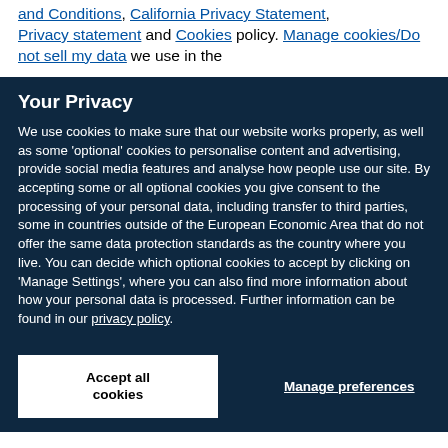and Conditions, California Privacy Statement, Privacy statement and Cookies policy. Manage cookies/Do not sell my data we use in the
Your Privacy
We use cookies to make sure that our website works properly, as well as some 'optional' cookies to personalise content and advertising, provide social media features and analyse how people use our site. By accepting some or all optional cookies you give consent to the processing of your personal data, including transfer to third parties, some in countries outside of the European Economic Area that do not offer the same data protection standards as the country where you live. You can decide which optional cookies to accept by clicking on 'Manage Settings', where you can also find more information about how your personal data is processed. Further information can be found in our privacy policy.
Accept all cookies
Manage preferences